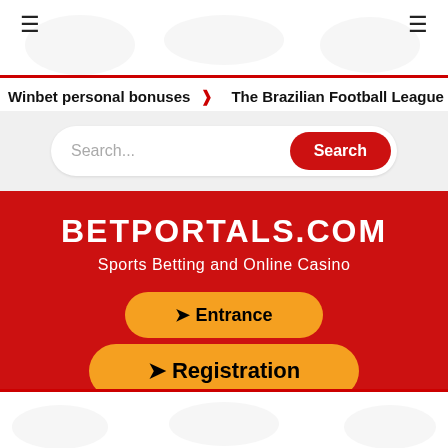≡   ≡
Winbet personal bonuses  ❯  The Brazilian Football League
[Figure (screenshot): Search bar with placeholder text 'Search...' and a red 'Search' button]
BETPORTALS.COM
Sports Betting and Online Casino
➤ Entrance
➤ Registration